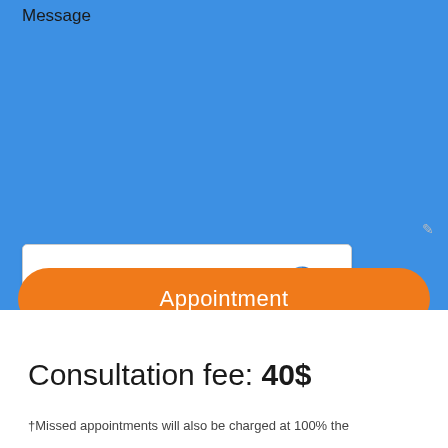Message
[Figure (screenshot): reCAPTCHA widget with checkbox labeled 'I'm not a robot' and reCAPTCHA logo with Privacy and Terms links]
Appointment
Consultation fee: 40$
†Missed appointments will also be charged at 100% the